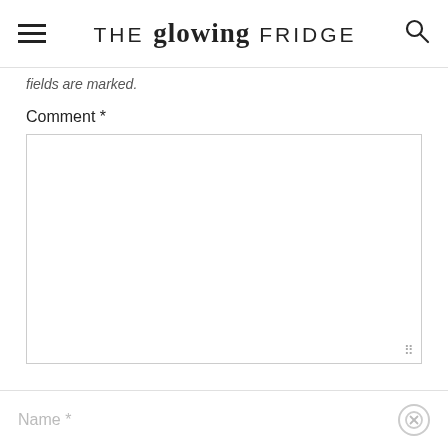THE glowing FRIDGE
fields are marked.
Comment *
[Figure (screenshot): Comment text area input box, empty, with resize handle in bottom right corner]
Name *